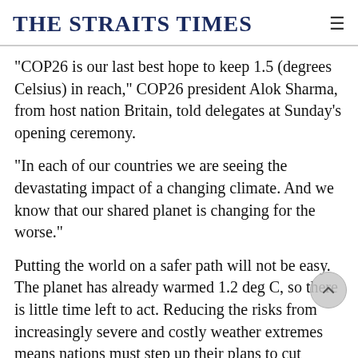THE STRAITS TIMES
"COP26 is our last best hope to keep 1.5 (degrees Celsius) in reach," COP26 president Alok Sharma, from host nation Britain, told delegates at Sunday's opening ceremony.
"In each of our countries we are seeing the devastating impact of a changing climate. And we know that our shared planet is changing for the worse."
Putting the world on a safer path will not be easy. The planet has already warmed 1.2 deg C, so there is little time left to act. Reducing the risks from increasingly severe and costly weather extremes means nations must step up their plans to cut